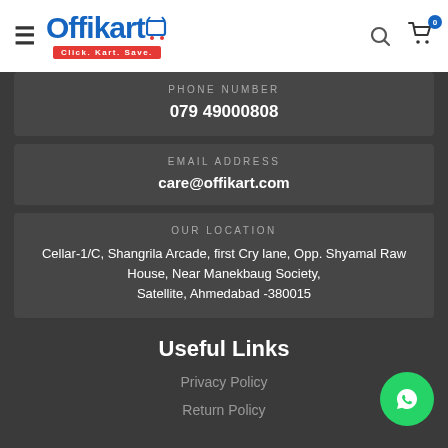[Figure (logo): Offikart logo with hamburger menu, search icon, and cart icon with badge 0]
PHONE NUMBER
079 49000808
EMAIL ADDRESS
care@offikart.com
OUR LOCATION
Cellar-1/C, Shangrila Arcade, first Cry lane, Opp. Shyamal Raw House, Near Manekbaug Society, Satellite, Ahmedabad -380015
Useful Links
Privacy Policy
Return Policy